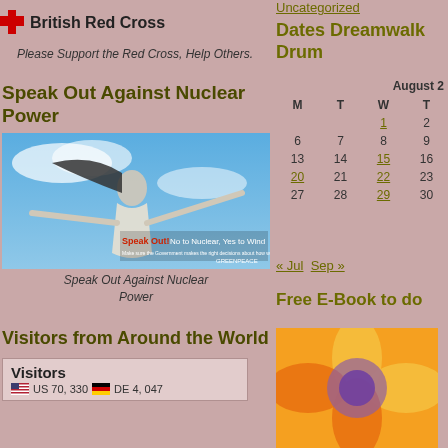[Figure (logo): British Red Cross logo with red cross icon and bold text]
Please Support the Red Cross, Help Others.
Speak Out Against Nuclear Power
[Figure (photo): Woman with arms spread wide against blue sky, Greenpeace Speak Out! No to Nuclear, Yes to Wind banner]
Speak Out Against Nuclear Power
Visitors from Around the World
Visitors
US 70,330   DE 4,047
Uncategorized
Dates Dreamwalk Drum
| M | T | W | T |
| --- | --- | --- | --- |
|  |  | 1 | 2 |
| 6 | 7 | 8 | 9 |
| 13 | 14 | 15 | 16 |
| 20 | 21 | 22 | 23 |
| 27 | 28 | 29 | 30 |
« Jul   Sep »
Free E-Book to do
[Figure (photo): Orange/yellow flower close-up photo]